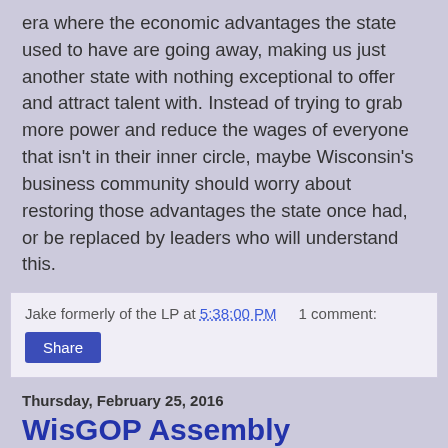era where the economic advantages the state used to have are going away, making us just another state with nothing exceptional to offer and attract talent with. Instead of trying to grab more power and reduce the wages of everyone that isn't in their inner circle, maybe Wisconsin's business community should worry about restoring those advantages the state once had, or be replaced by leaders who will understand this.
Jake formerly of the LP at 5:38:00 PM   1 comment:
Share
Thursday, February 25, 2016
WisGOP Assembly members can't handle the truth on their record
Seems like Wisconsin Republicans are having a bad time handling the truth these days. You may have heard about this story out of Western Wisconsin this week, where GOP